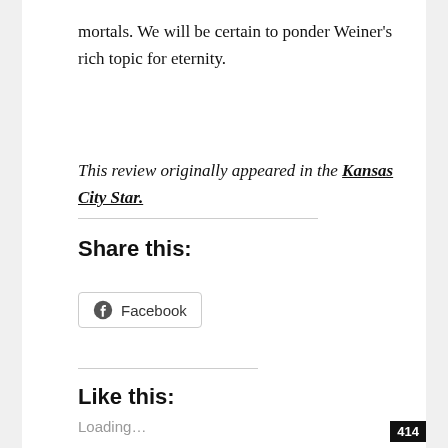mortals. We will be certain to ponder Weiner's rich topic for eternity.
This review originally appeared in the Kansas City Star.
Share this:
[Figure (other): Facebook share button with Facebook logo icon]
Like this:
Loading...
414